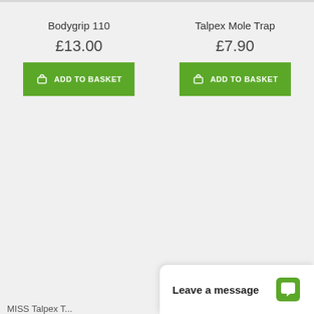Bodygrip 110
£13.00
ADD TO BASKET
Talpex Mole Trap
£7.90
ADD TO BASKET
Leave a message
MISS Talpex T...